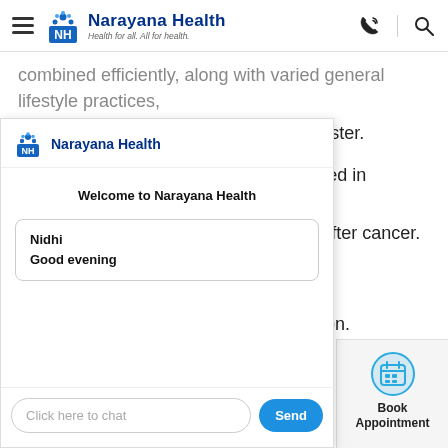NH Narayana Health — Health for all. All for health.
combined efficiently, along with varied general lifestyle practices, that help the patients heal better and faster.
With the help of treatment therapies used in integrative oncology, the quality of life improves during and after cancer. The therapies [amme are from ness, and nutrition.
[Figure (screenshot): Narayana Health chat widget overlay showing welcome message and a message from Nidhi saying Good evening, with a text input field and Send button.]
Welcome to Narayana Health
Nidhi
Good evening
Click here to chat
[Figure (infographic): Book Appointment button with calendar icon]